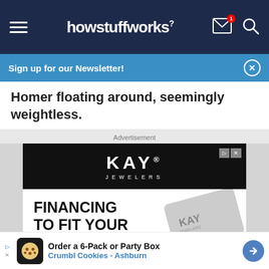howstuffworks
Sign up for our Newsletter!
Homer floating around, seemingly weightless.
Advertisement
[Figure (other): Kay Jewelers advertisement: black header with KAY JEWELERS logo, body with text FINANCING TO FIT YOUR BUDGET with Low Monthly Payments, LEARN MORE button, and image of jewelry rings]
[Figure (other): Crumbl Cookies advertisement: Order a 6-Pack or Party Box - Crumbl Cookies - Ashburn]